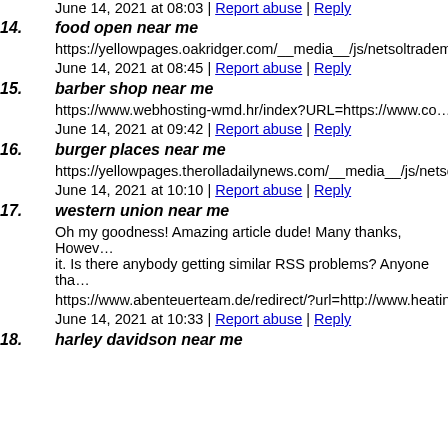June 14, 2021 at 08:03 | Report abuse | Reply
14. food open near me
https://yellowpages.oakridger.com/__media__/js/netsoltradema...
June 14, 2021 at 08:45 | Report abuse | Reply
15. barber shop near me
https://www.webhosting-wmd.hr/index?URL=https://www.co...
June 14, 2021 at 09:42 | Report abuse | Reply
16. burger places near me
https://yellowpages.therolladailynews.com/__media__/js/netso...
June 14, 2021 at 10:10 | Report abuse | Reply
17. western union near me
Oh my goodness! Amazing article dude! Many thanks, However I am having trouble with your RSS. I don't know why I'm unable to subscribe to it. Is there anybody getting similar RSS problems? Anyone tha...
https://www.abenteuerteam.de/redirect/?url=http://www.heatin...
June 14, 2021 at 10:33 | Report abuse | Reply
18. harley davidson near me